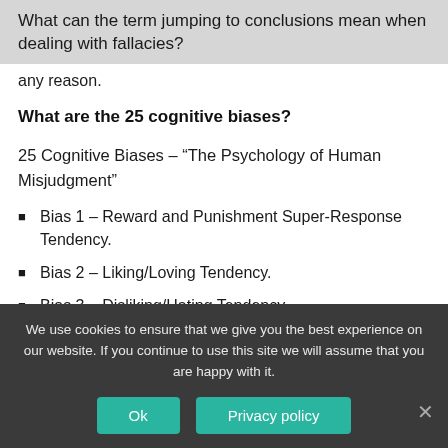What can the term jumping to conclusions mean when dealing with fallacies?
any reason.
What are the 25 cognitive biases?
25 Cognitive Biases – “The Psychology of Human Misjudgment”
Bias 1 – Reward and Punishment Super-Response Tendency.
Bias 2 – Liking/Loving Tendency.
Bias 3 – Disliking/Hating Tendency.
Bias 4 – Doubt-Avoidance Tendency.
We use cookies to ensure that we give you the best experience on our website. If you continue to use this site we will assume that you are happy with it.